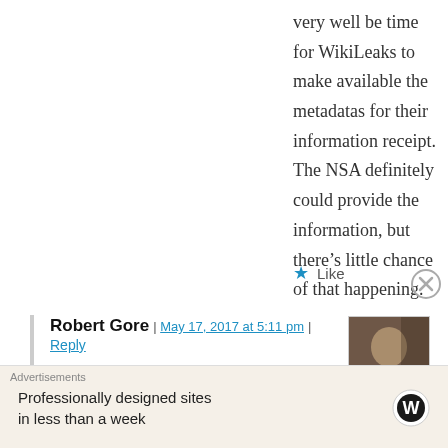very well be time for WikiLeaks to make available the metadatas for their information receipt. The NSA definitely could provide the information, but there’s little chance of that happening.
★ Like
Robert Gore | May 17, 2017 at 5:11 pm | Reply
Thanks, the analysis
Advertisements
Professionally designed sites in less than a week